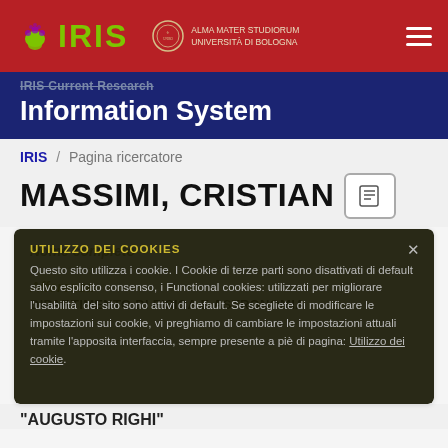IRIS - Alma Mater Studiorum Università di Bologna
IRIS Current Research Information System
IRIS / Pagina ricercatore
MASSIMI, CRISTIAN
UTILIZZO DEI COOKIES
Questo sito utilizza i cookie. I Cookie di terze parti sono disattivati di default salvo esplicito consenso, i Functional cookies: utilizzati per migliorare l'usabilità del sito sono attivi di default. Se scegliete di modificare le impostazioni sui cookie, vi preghiamo di cambiare le impostazioni attuali tramite l'apposita interfaccia, sempre presente a piè di pagina: Utilizzo dei cookie.
Nome completo
Afferenza
DIPARTIMENTO DI FISICA E ASTRONOMIA
"AUGUSTO RIGHI"